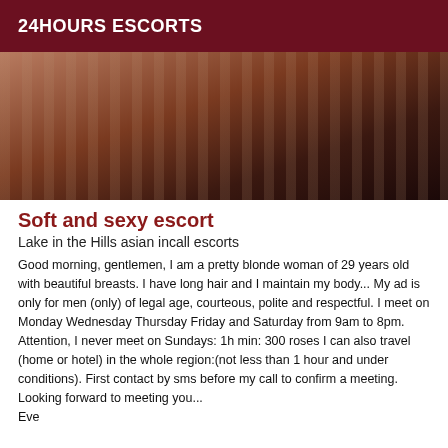24HOURS ESCORTS
[Figure (photo): Cropped photo of a person, showing skin tones in warm browns, with a blurred background of vertical stripes/curtains.]
Soft and sexy escort
Lake in the Hills asian incall escorts
Good morning, gentlemen, I am a pretty blonde woman of 29 years old with beautiful breasts. I have long hair and I maintain my body... My ad is only for men (only) of legal age, courteous, polite and respectful. I meet on Monday Wednesday Thursday Friday and Saturday from 9am to 8pm. Attention, I never meet on Sundays: 1h min: 300 roses I can also travel (home or hotel) in the whole region:(not less than 1 hour and under conditions). First contact by sms before my call to confirm a meeting. Looking forward to meeting you... Eve